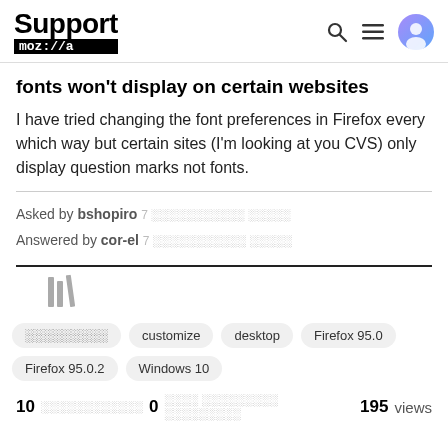Support mozilla//a
fonts won't display on certain websites
I have tried changing the font preferences in Firefox every which way but certain sites (I'm looking at you CVS) only display question marks not fonts.
Asked by bshopiro 7 [squiggles]
Answered by cor-el 7 [squiggles]
[Figure (illustration): Library/bookmark icon in gray]
[squiggles] customize desktop Firefox 95.0 Firefox 95.0.2 Windows 10
10 [squiggles] 0 [squiggles] 195 views